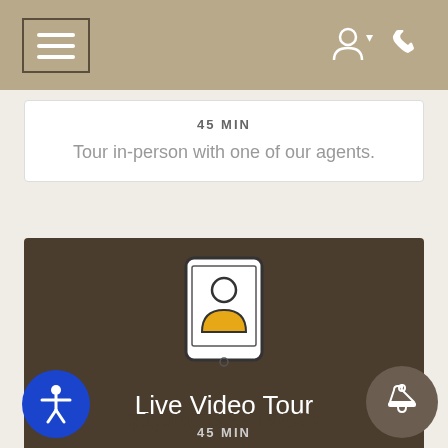Navigation header with menu and icons
45 MIN
Tour in-person with one of our agents.
[Figure (illustration): Icon of a tablet/phone showing a person silhouette with yellow shirt — representing a video call]
Live Video Tour
45 MIN
Tour with an agent through a video conference.
$1,000 SAVINGS!